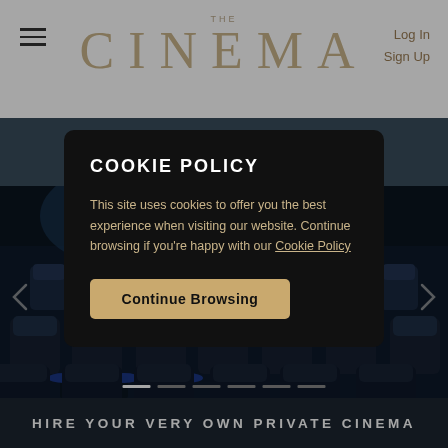THE CINEMA | Log In | Sign Up
[Figure (photo): Dark cinema interior with rows of plush navy/blue seats, moody blue lighting, and small side tables with blue tops, slider carousel with navigation arrows and dots]
COOKIE POLICY
This site uses cookies to offer you the best experience when visiting our website. Continue browsing if you’re happy with our Cookie Policy
Continue Browsing
HIRE YOUR VERY OWN PRIVATE CINEMA